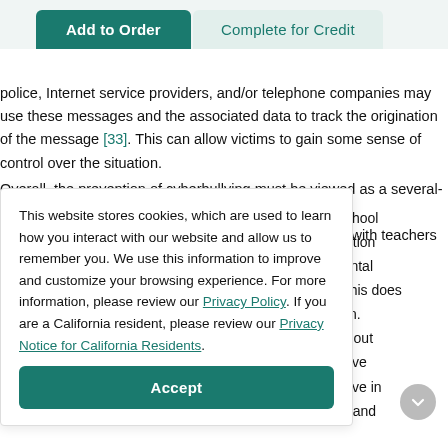Add to Order | Complete for Credit
police, Internet service providers, and/or telephone companies may use these messages and the associated data to track the origination of the message [33]. This can allow victims to gain some sense of control over the situation.
Overall, the prevention of cyberbullying must be viewed as a several-prong approach with education at many levels. Collaboration with teachers school cation rental , this does ion. about ctive ctive in s, and
This website stores cookies, which are used to learn how you interact with our website and allow us to remember you. We use this information to improve and customize your browsing experience. For more information, please review our Privacy Policy. If you are a California resident, please review our Privacy Notice for California Residents.
Accept